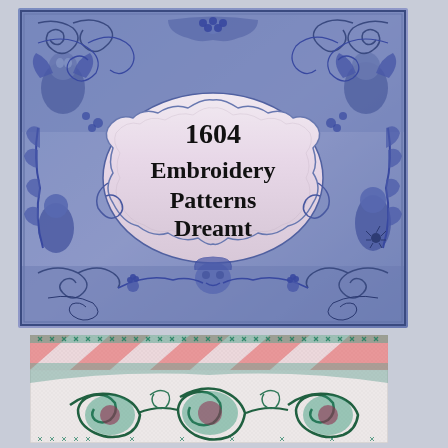[Figure (illustration): Book cover illustration for '1604 Embroidery Patterns Dreamt'. Blue and purple ornate baroque-style decorative border with cherubs, angels, scrollwork, floral motifs, and baroque grotesque figures surrounding a central cartouche with a pale pink/cream background. The title text '1604 Embroidery Patterns Dreamt' appears in bold black serif font within the cartouche. The entire image has a blue-purple tonal palette with intricate engraving-style illustration.]
[Figure (illustration): Cross-stitch or needlepoint embroidery pattern sample showing an ornate design in teal/green and pink/red colors on a light background. The pattern shows elaborate scrollwork and floral motifs rendered in a grid-based cross-stitch style. The sample appears to be a partial view of a larger embroidery pattern showing baroque-style decorative elements.]